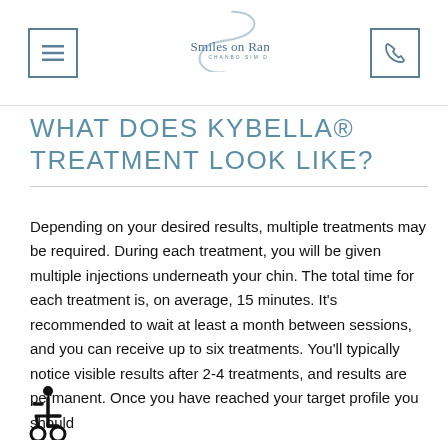[Figure (logo): Smiles on Randolph dental practice logo with stylized S curve and script text, Chanbo Sim DDS]
WHAT DOES KYBELLA® TREATMENT LOOK LIKE?
Depending on your desired results, multiple treatments may be required. During each treatment, you will be given multiple injections underneath your chin. The total time for each treatment is, on average, 15 minutes. It's recommended to wait at least a month between sessions, and you can receive up to six treatments. You'll typically notice visible results after 2-4 treatments, and results are permanent. Once you have reached your target profile you should